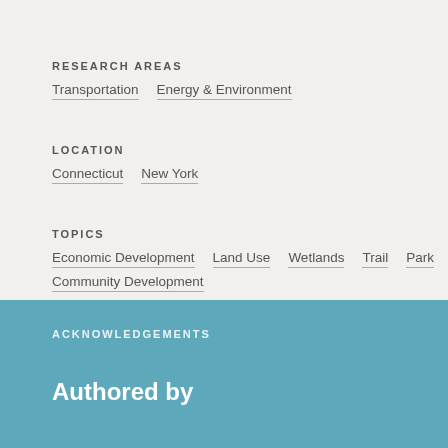RESEARCH AREAS
Transportation
Energy & Environment
LOCATION
Connecticut
New York
TOPICS
Economic Development
Land Use
Wetlands
Trail
Park
Community Development
ACKNOWLEDGEMENTS
Authored by